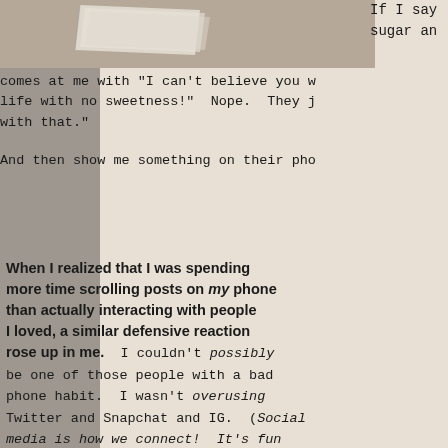[Figure (illustration): Partial view of stacked books or papers illustration in a beige/tan background area, top portion of page]
If I say sugar an comes at me with "I can't believe you w life with no sweetness!"  Nope.  They j with that."
And then show me something on their pho
When I realized that I was spending more time scrolling posts on my phone than actually interacting with people I loved, a similar defensive reaction rose up in me.  I couldn't possibly be one of those people with a bad phone habit.  I wasn't overusing Twitter and Snapchat and IG.  (Social media is how we connect!  It's fun